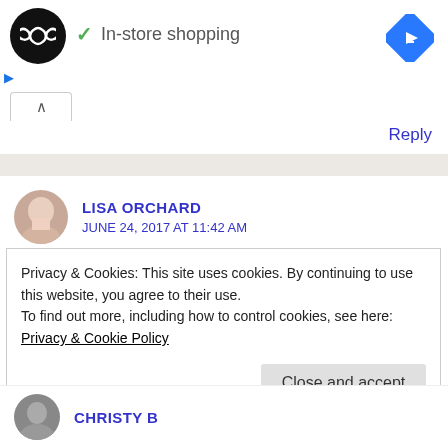[Figure (logo): Black circle logo with white double-arrow infinity symbol; green checkmark and 'In-store shopping' text; blue diamond navigation icon top right; play and X ad controls]
Reply
LISA ORCHARD
JUNE 24, 2017 AT 11:42 AM
Privacy & Cookies: This site uses cookies. By continuing to use this website, you agree to their use.
To find out more, including how to control cookies, see here: Privacy & Cookie Policy
Close and accept
CHRISTY B